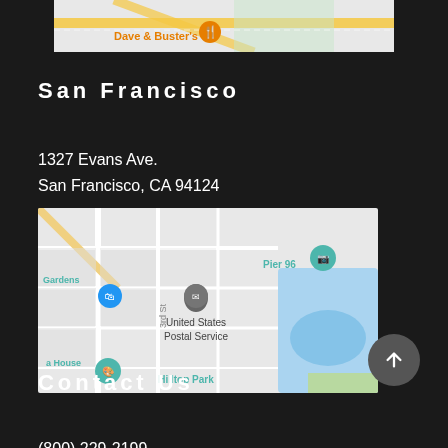[Figure (map): Partial Google map showing Dave & Buster's location with an orange marker and road network on a light gray background.]
San Francisco
1327 Evans Ave.
San Francisco, CA 94124
[Figure (map): Google Maps view of the area near 1327 Evans Ave, San Francisco, showing landmarks including United States Postal Service, Pier 96, Gardens, and Hilltop Park with street grid.]
Contact Us
(800) 229-2199